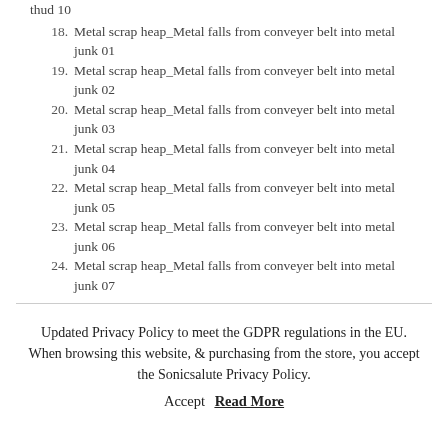thud 10
18. Metal scrap heap_Metal falls from conveyer belt into metal junk 01
19. Metal scrap heap_Metal falls from conveyer belt into metal junk 02
20. Metal scrap heap_Metal falls from conveyer belt into metal junk 03
21. Metal scrap heap_Metal falls from conveyer belt into metal junk 04
22. Metal scrap heap_Metal falls from conveyer belt into metal junk 05
23. Metal scrap heap_Metal falls from conveyer belt into metal junk 06
24. Metal scrap heap_Metal falls from conveyer belt into metal junk 07
Updated Privacy Policy to meet the GDPR regulations in the EU. When browsing this website, & purchasing from the store, you accept the Sonicsalute Privacy Policy.
Accept   Read More